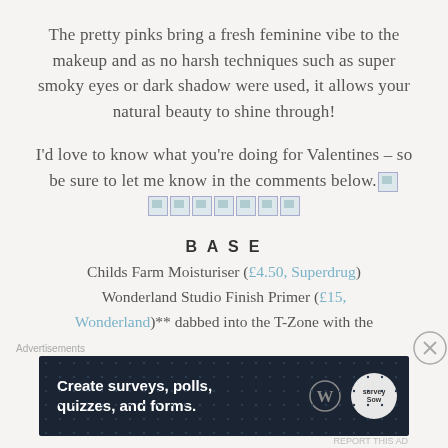The pretty pinks bring a fresh feminine vibe to the makeup and as no harsh techniques such as super smoky eyes or dark shadow were used, it allows your natural beauty to shine through!
I'd love to know what you're doing for Valentines – so be sure to let me know in the comments below. [emoji icons]
BASE
Childs Farm Moisturiser (£4.50, Superdrug) Wonderland Studio Finish Primer (£15, Wonderland)** dabbed into the T-Zone with the
[Figure (infographic): Advertisement banner: 'Create surveys, polls, quizzes, and forms.' with WordPress and Survey Sparrow logos on dark navy background]